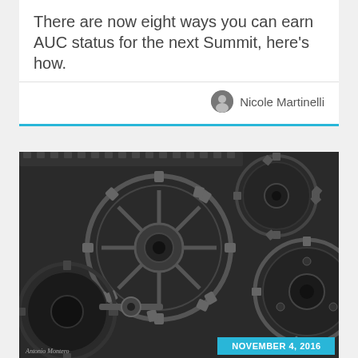There are now eight ways you can earn AUC status for the next Summit, here’s how.
Nicole Martinelli
[Figure (photo): Black and white close-up photograph of industrial interlocking metal gears and cogs. Photo credit: Antonio Montero. Date badge: NOVEMBER 4, 2016.]